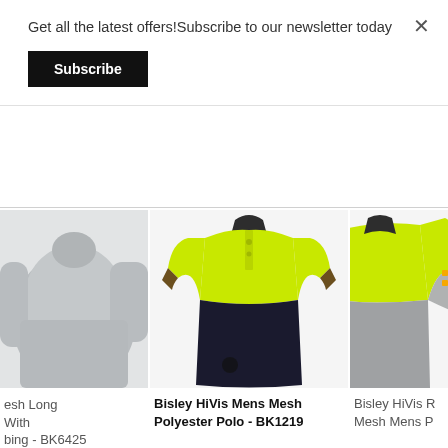Get all the latest offers!Subscribe to our newsletter today
Subscribe
×
[Figure (photo): Left-clipped gray long-sleeve shirt on white background]
[Figure (photo): Bisley HiVis two-tone polo shirt, lime green upper with black lower, short sleeves, on white background]
[Figure (photo): Bisley HiVis long-sleeve polo shirt, lime green with gray lower sleeves, partially clipped on right side]
esh Long
With
bing - BK6425
Bisley HiVis Mens Mesh Polyester Polo - BK1219
Bisley HiVis R
Mesh Mens P
$35.95
$39.95
Quick Shop
Quick Shop